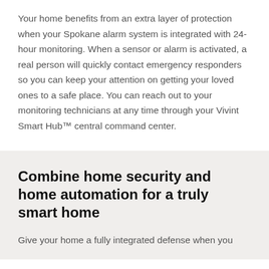Your home benefits from an extra layer of protection when your Spokane alarm system is integrated with 24-hour monitoring. When a sensor or alarm is activated, a real person will quickly contact emergency responders so you can keep your attention on getting your loved ones to a safe place. You can reach out to your monitoring technicians at any time through your Vivint Smart Hub™ central command center.
Combine home security and home automation for a truly smart home
Give your home a fully integrated defense when you